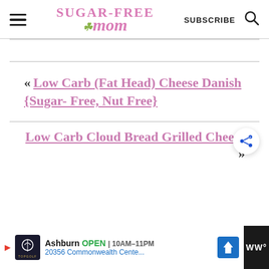Sugar-Free Mom — SUBSCRIBE
« Low Carb (Fat Head) Cheese Danish {Sugar- Free, Nut Free}
Low Carb Cloud Bread Grilled Cheese »
[Figure (screenshot): Advertisement bar: Topgolf Ashburn OPEN 10AM–11PM, 20356 Commonwealth Cente...]